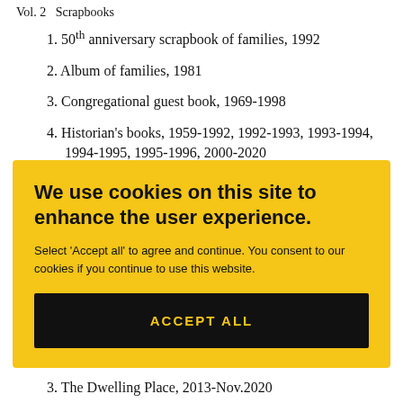Vol. 2   Scrapbooks
1. 50th anniversary scrapbook of families, 1992
2. Album of families, 1981
3. Congregational guest book, 1969-1998
4. Historian's books, 1959-1992, 1992-1993, 1993-1994, 1994-1995, 1995-1996, 2000-2020
We use cookies on this site to enhance the user experience. Select 'Accept all' to agree and continue. You consent to our cookies if you continue to use this website. ACCEPT ALL
3. The Dwelling Place, 2013-Nov.2020